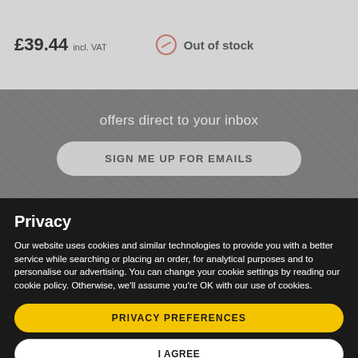£39.44 incl. VAT
Out of stock
offers direct to your inbox
SIGN ME UP FOR EMAILS
Privacy
Our website uses cookies and similar technologies to provide you with a better service while searching or placing an order, for analytical purposes and to personalise our advertising. You can change your cookie settings by reading our cookie policy. Otherwise, we'll assume you're OK with our use of cookies.
PRIVACY PREFERENCES
I AGREE